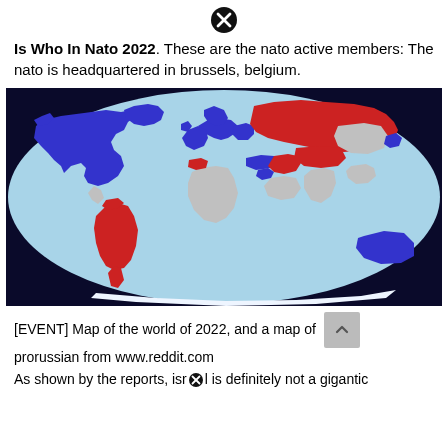[Figure (other): Close button (X icon) at top center]
Is Who In Nato 2022. These are the nato active members: The nato is headquartered in brussels, belgium.
[Figure (map): World map showing NATO members (blue), pro-Russian countries (red), and neutral/other countries (grey) as of 2022, on a light blue oval background with dark navy border.]
[EVENT] Map of the world of 2022, and a map of prorussian from www.reddit.com
As shown by the reports, isrl is definitely not a gigantic